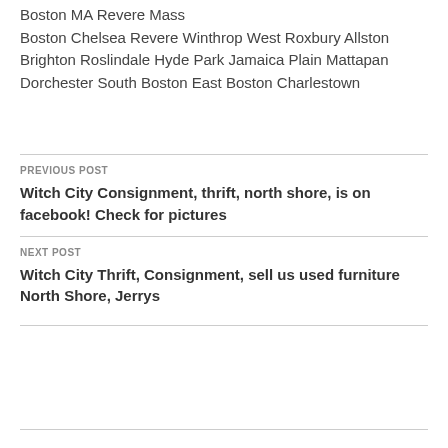Boston MA Revere Mass Boston Chelsea Revere Winthrop West Roxbury Allston Brighton Roslindale Hyde Park Jamaica Plain Mattapan Dorchester South Boston East Boston Charlestown
PREVIOUS POST
Witch City Consignment, thrift, north shore, is on facebook! Check for pictures
NEXT POST
Witch City Thrift, Consignment, sell us used furniture North Shore, Jerrys